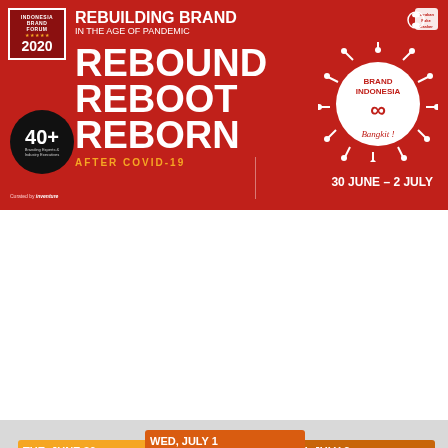[Figure (infographic): Indonesia Brand Forum 2020 event poster with red background. Title: Rebuilding Brand in the Age of Pandemic. REBOUND REBOOT REBORN AFTER COVID-19. 30 JUNE - 2 JULY. Brand Indonesia Bangkit logo with coronavirus graphic. 40+ Branding Experts & Industry Executives badge.]
[Figure (infographic): Three schedule cards for Indonesia Brand Forum 2020 showing agenda for TUE JUNE 30, WED JULY 1, and THU JULY 2 with Branding Practice and Industry Conference sessions.]